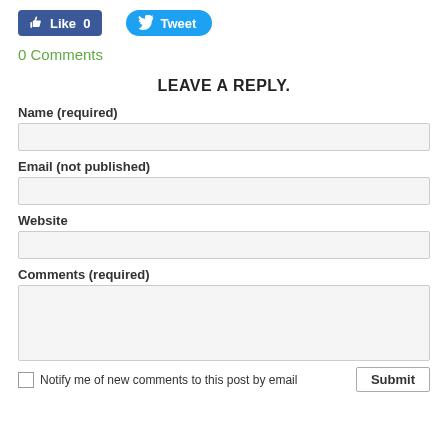[Figure (other): Facebook Like button with count 0 and Twitter Tweet button]
0 Comments
LEAVE A REPLY.
Name (required)
Email (not published)
Website
Comments (required)
Notify me of new comments to this post by email
Submit